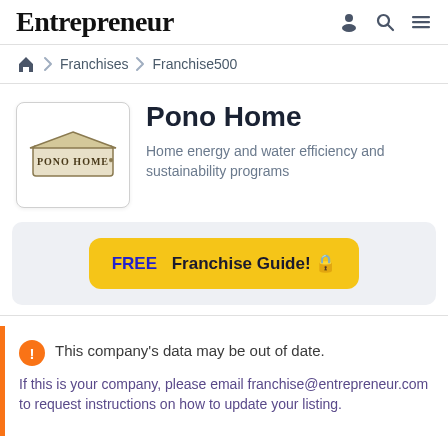Entrepreneur
🏠 Franchises › Franchise500
Pono Home
Home energy and water efficiency and sustainability programs
FREE Franchise Guide! 🔒
This company's data may be out of date.
If this is your company, please email franchise@entrepreneur.com to request instructions on how to update your listing.